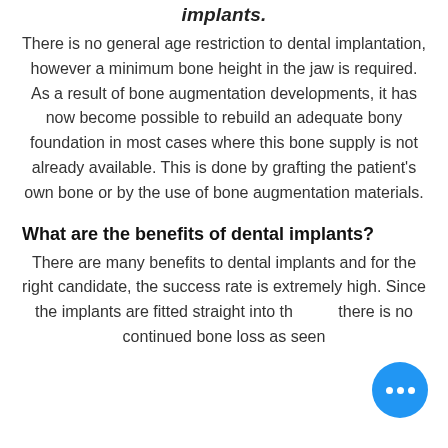implants.
There is no general age restriction to dental implantation, however a minimum bone height in the jaw is required. As a result of bone augmentation developments, it has now become possible to rebuild an adequate bony foundation in most cases where this bone supply is not already available. This is done by grafting the patient's own bone or by the use of bone augmentation materials.
What are the benefits of dental implants?
There are many benefits to dental implants and for the right candidate, the success rate is extremely high. Since the implants are fitted straight into the there is no continued bone loss as seen